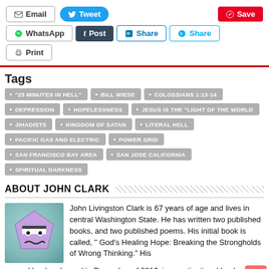[Figure (screenshot): Social sharing buttons row 1: Email, Tweet, Save]
[Figure (screenshot): Social sharing buttons row 2: WhatsApp, Post, Share (LinkedIn), Share (Skype), Print]
"23 MINUTES IN HELL"
BILL WIESE
COLOSSIANS 1:13-14
DEPRESSION
HOPELESSNESS
JESUS IS THE "LIGHT OF THE WORLD
JIHADISTS
KINGDOM OF SATAN
LITERAL HELL
PACIFIC GAS AND ELECTRIC
POWER GRID
SAN FRANCISCO BAY AREA
SAN JOSE CALIFORNIA
SPIRITUAL DARKNESS
ABOUT JOHN CLARK
John Livingston Clark is 67 years of age and lives in central Washington State. He has written two published books, and two published poems. His initial book is called, " God's Healing Hope: Breaking the Strongholds of Wrong Thinking." His second book, released in December of 2016, is a motivational book written to seniors titled, " Seniors: Are
[Figure (illustration): Avatar: cartoon purple pentagon-shaped character with eyes and wavy mouth on teal gradient background]